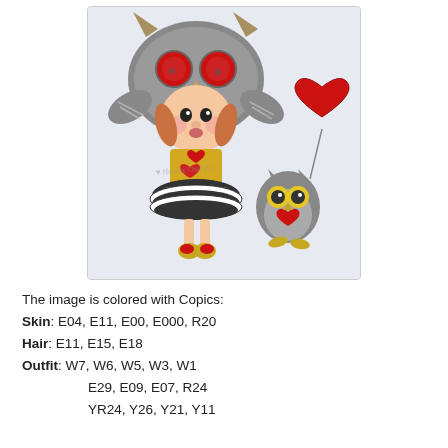[Figure (illustration): Colored illustration of a girl wearing an owl hat/costume holding a red heart, with a small owl holding a red heart balloon beside her. Colored with Copic markers.]
The image is colored with Copics:
Skin: E04, E11, E00, E000, R20
Hair: E11, E15, E18
Outfit: W7, W6, W5, W3, W1
        E29, E09, E07, R24
        YR24, Y26, Y21, Y11
You can have a look at the details on the following pictures: